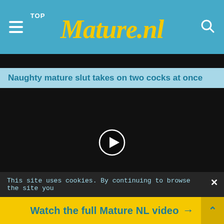TOP Mature.nl
[Figure (screenshot): Black video thumbnail bar at top]
Naughty mature slut takes on two cocks at once
[Figure (screenshot): Black video player with white circle play button in center]
This site uses cookies. By continuing to browse the site you
Watch the full Mature NL video →